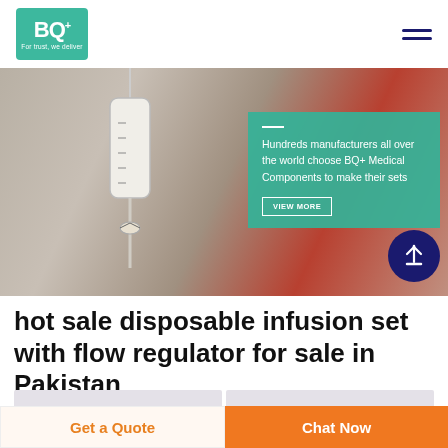[Figure (logo): BQ+ Medical logo — teal green box with BQ+ text and tagline 'For trust, we deliver']
[Figure (photo): Hero banner photo of a disposable IV infusion set drip chamber hanging, blurred red background. Teal overlay box with text: 'Hundreds manufacturers all over the world choose BQ+ Medical Components to make their sets' and a VIEW MORE button.]
hot sale disposable infusion set with flow regulator for sale in Pakistan
Get a Quote
Chat Now